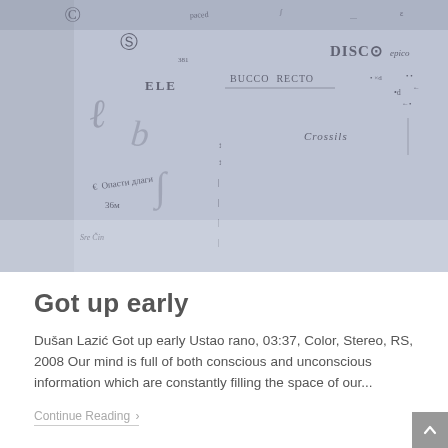[Figure (photo): A blurry whiteboard or paper with handwritten notes, formulas, and text in a blue-grey tone. Various words and numbers are scrawled across the surface, partially legible including 'DISC', 'ELE', and other notations.]
Got up early
Dušan Lazić Got up early Ustao rano, 03:37, Color, Stereo, RS, 2008 Our mind is full of both conscious and unconscious information which are constantly filling the space of our...
Continue Reading ›